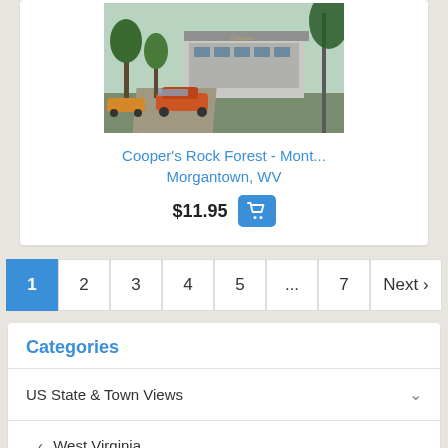[Figure (photo): Vintage postcard illustration of a building (Chateau) with classic cars and trees in the foreground]
Cooper's Rock Forest - Mont...
Morgantown, WV
$11.95
1  2  3  4  5  ...  7  Next >
Categories
US State & Town Views
< West Virginia
< Morgantown